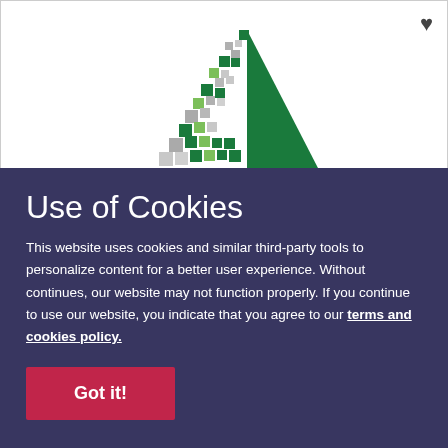[Figure (logo): Company logo: a green triangle/arrow shape made of pixelated squares in dark green, light green, and gray, forming a stylized upward-pointing triangle or mountain shape]
Use of Cookies
This website uses cookies and similar third-party tools to personalize content for a better user experience. Without continues, our website may not function properly. If you continue to use our website, you indicate that you agree to our terms and cookies policy.
Got it!